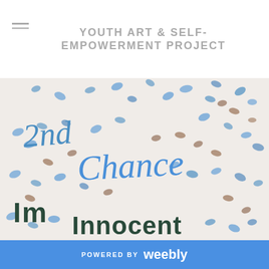YOUTH ART & SELF-EMPOWERMENT PROJECT
[Figure (photo): Artwork on white background with blue and brown butterfly/leaf prints scattered throughout. Handwritten text in blue reads '2nd Chance' and in dark green/black reads 'Im Innocent']
YASP NEWS
POWERED BY weebly